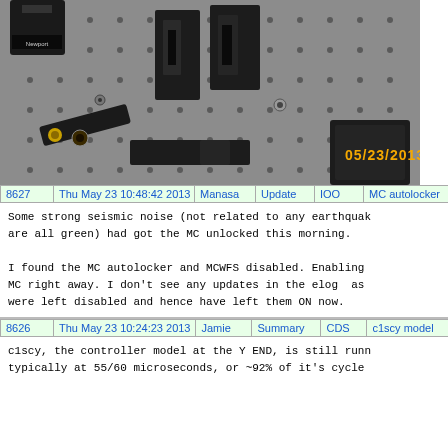[Figure (photo): Photo of optical lab equipment on a metal optical breadboard with threaded holes. Black optical mounts and hardware visible. Newport brand equipment. Date stamp 05/23/2013 in orange.]
| 8627 | Thu May 23 10:48:42 2013 | Manasa | Update | IOO | MC autolocker |
| --- | --- | --- | --- | --- | --- |
Some strong seismic noise (not related to any earthquake, are all green) had got the MC unlocked this morning.

I found the MC autolocker and MCWFS disabled. Enabling MC right away. I don't see any updates in the elog as were left disabled and hence have left them ON now.
| 8626 | Thu May 23 10:24:23 2013 | Jamie | Summary | CDS | c1scy model |
| --- | --- | --- | --- | --- | --- |
c1scy, the controller model at the Y END, is still running typically at 55/60 microseconds, or ~92% of it's cycle